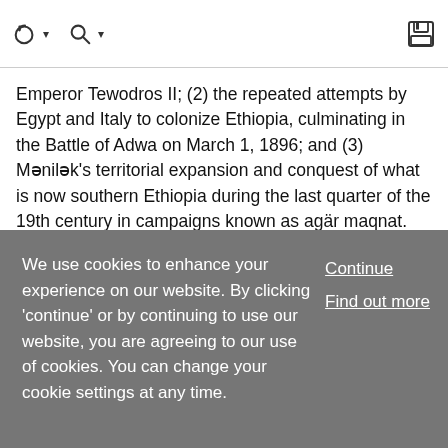[toolbar with navigation and save icons]
Emperor Tewodros II; (2) the repeated attempts by Egypt and Italy to colonize Ethiopia, culminating in the Battle of Adwa on March 1, 1896; and (3) Mənilək's territorial expansion and conquest of what is now southern Ethiopia during the last quarter of the 19th century in campaigns known as agär maqnat. These three distinct, yet related, processes laid the making… … Show More
Article
We use cookies to enhance your experience on our website. By clicking 'continue' or by continuing to use our website, you are agreeing to our use of cookies. You can change your cookie settings at any time.
Continue
Find out more